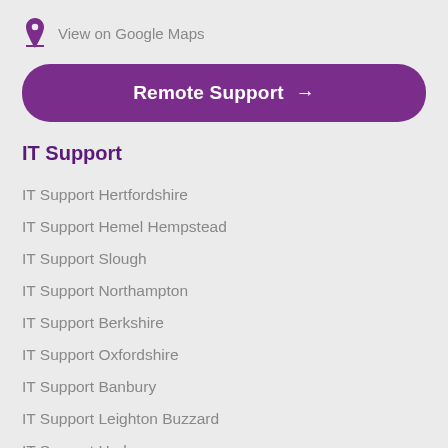View on Google Maps
Remote Support →
IT Support
IT Support Hertfordshire
IT Support Hemel Hempstead
IT Support Slough
IT Support Northampton
IT Support Berkshire
IT Support Oxfordshire
IT Support Banbury
IT Support Leighton Buzzard
IT Support Harlow